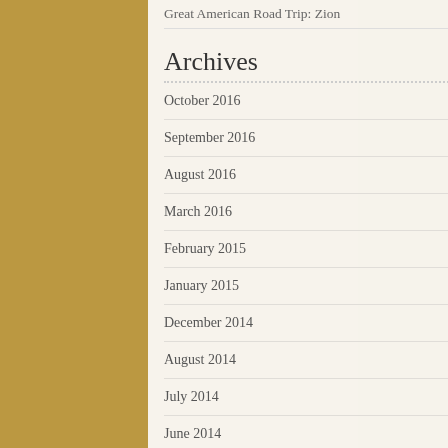Great American Road Trip: Zion
Archives
October 2016
September 2016
August 2016
March 2016
February 2015
January 2015
December 2014
August 2014
July 2014
June 2014